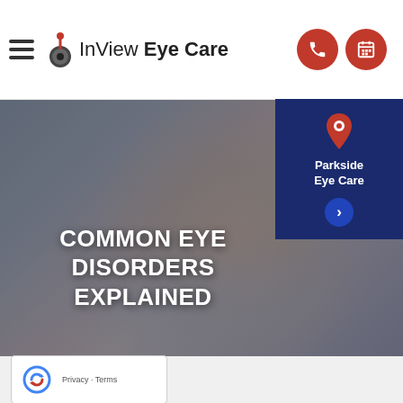InView Eye Care
[Figure (screenshot): Hero image of woman wearing round glasses, smiling, with a dark overlay. Text overlay reads COMMON EYE DISORDERS EXPLAINED. Parkside Eye Care card in top right corner.]
COMMON EYE DISORDERS EXPLAINED
Privacy · Terms